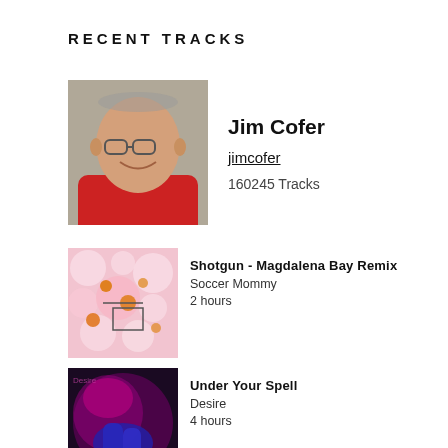RECENT TRACKS
[Figure (photo): Profile photo of Jim Cofer, a smiling bald man wearing glasses and a red shirt]
Jim Cofer
jimcofer
160245 Tracks
[Figure (photo): Album art for Shotgun - Magdalena Bay Remix by Soccer Mommy, pink/orange abstract]
Shotgun - Magdalena Bay Remix
Soccer Mommy
2 hours
[Figure (photo): Album art for Under Your Spell by Desire, dark purple/red tones with hands]
Under Your Spell
Desire
4 hours
[Figure (photo): Album art for About Work The Dancefloor - Edit by Georgia, orange background with black X shape]
About Work The Dancefloor - Edit
Georgia
4 hours